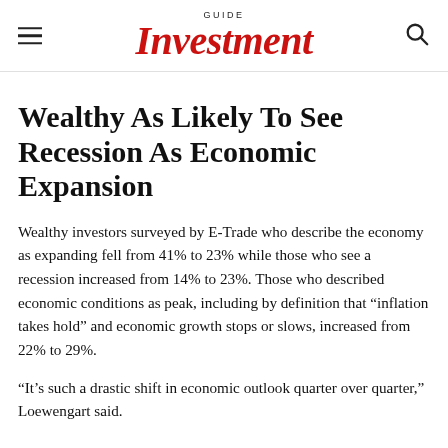GUIDE Investment
Wealthy As Likely To See Recession As Economic Expansion
Wealthy investors surveyed by E-Trade who describe the economy as expanding fell from 41% to 23% while those who see a recession increased from 14% to 23%. Those who described economic conditions as peak, including by definition that “inflation takes hold” and economic growth stops or slows, increased from 22% to 29%.
“It’s such a drastic shift in economic outlook quarter over quarter,” Loewengart said.